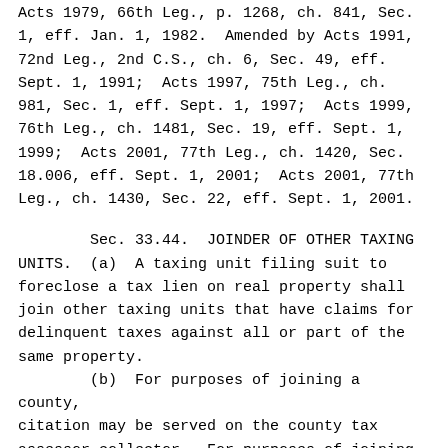Acts 1979, 66th Leg., p. 1268, ch. 841, Sec. 1, eff. Jan. 1, 1982.  Amended by Acts 1991, 72nd Leg., 2nd C.S., ch. 6, Sec. 49, eff. Sept. 1, 1991;  Acts 1997, 75th Leg., ch. 981, Sec. 1, eff. Sept. 1, 1997;  Acts 1999, 76th Leg., ch. 1481, Sec. 19, eff. Sept. 1, 1999;  Acts 2001, 77th Leg., ch. 1420, Sec. 18.006, eff. Sept. 1, 2001;  Acts 2001, 77th Leg., ch. 1430, Sec. 22, eff. Sept. 1, 2001.
Sec. 33.44.  JOINDER OF OTHER TAXING UNITS.  (a)  A taxing unit filing suit to foreclose a tax lien on real property shall join other taxing units that have claims for delinquent taxes against all or part of the same property.
        (b)  For purposes of joining a county, citation may be served on the county tax assessor-collector.  For purposes of joining